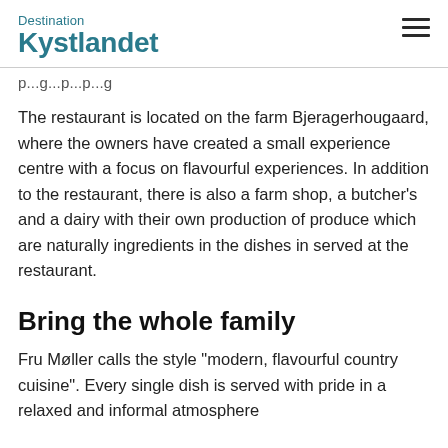Destination Kystlandet
...previous page text clipped...
The restaurant is located on the farm Bjeragerhougaard, where the owners have created a small experience centre with a focus on flavourful experiences. In addition to the restaurant, there is also a farm shop, a butcher’s and a dairy with their own production of produce which are naturally ingredients in the dishes in served at the restaurant.
Bring the whole family
Fru Møller calls the style “modern, flavourful country cuisine”. Every single dish is served with pride in a relaxed and informal atmosphere